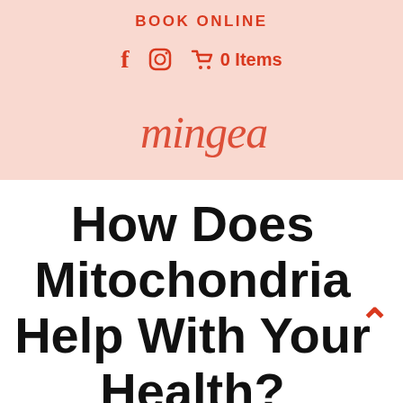BOOK ONLINE
f  [instagram]  [cart] 0 Items
[Figure (logo): Partially visible cursive/script logo text in red-orange color on pink background]
How Does Mitochondria Help With Your Health?